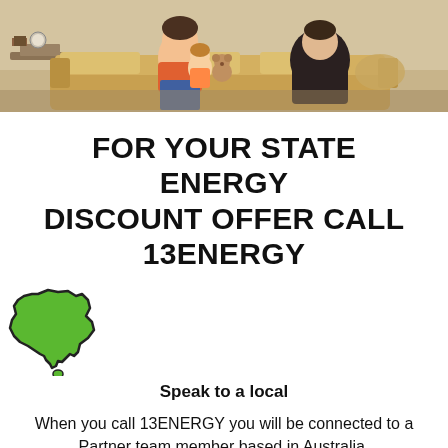[Figure (photo): Photo banner showing people sitting on a sofa, including a person holding a child with a stuffed toy, in a living room setting]
FOR YOUR STATE ENERGY DISCOUNT OFFER CALL 13ENERGY
[Figure (illustration): Green illustrated map of Australia with a dark outline]
Speak to a local
When you call 13ENERGY you will be connected to a Partner team member based in Australia.
Our Partner consultants are specialists in the Australian Energy retail market